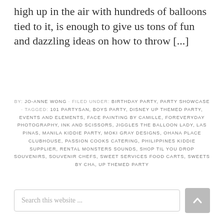high up in the air with hundreds of balloons tied to it, is enough to give us tons of fun and dazzling ideas on how to throw [...]
BY: JO-ANNE WONG · FILED UNDER: BIRTHDAY PARTY, PARTY SHOWCASE · TAGGED: 101 PARTYSAN, BOYS PARTY, DISNEY UP THEMED PARTY, EVENTS AND ELEMENTS, FACE PAINTING BY CAMILLE, FOREVERYDAY PHOTOGRAPHY, INK AND SCISSORS, JIGGLES THE BALLOON LADY, LAS PINAS, MANILA KIDDIE PARTY, MOKI GRAY DESIGNS, OHANA PLACE CLUBHOUSE, PASSION COOKS CATERING, PHILIPPINES KIDDIE SUPPLIER, RENTAL MONSTERS SOUNDS, SHOP TIL YOU DROP SOUVENIRS, SOUVENIR CHEFS, SWEET SERVICES FOOD CARTS, SWEETS BY CHA, UP THEMED PARTY
Search this website ...